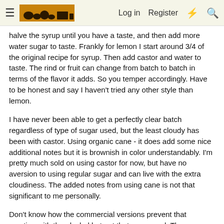≡ [logo] Log in  Register  ⚡  🔍
halve the syrup until you have a taste, and then add more water sugar to taste. Frankly for lemon I start around 3/4 of the original recipe for syrup. Then add castor and water to taste. The rind or fruit can change from batch to batch in terms of the flavor it adds. So you temper accordingly. Have to be honest and say I haven't tried any other style than lemon.
I have never been able to get a perfectly clear batch regardless of type of sugar used, but the least cloudy has been with castor. Using organic cane - it does add some nice additional notes but it is brownish in color understandably. I'm pretty much sold on using castor for now, but have no aversion to using regular sugar and can live with the extra cloudiness. The added notes from using cane is not that significant to me personally.
Don't know how the commercial versions prevent that reaction with the alcohol but not that concerned. There were plenty that I had when I was in Italy that were made by the restaurant owners that were not perfectly clear. The taste/flavor trumps that